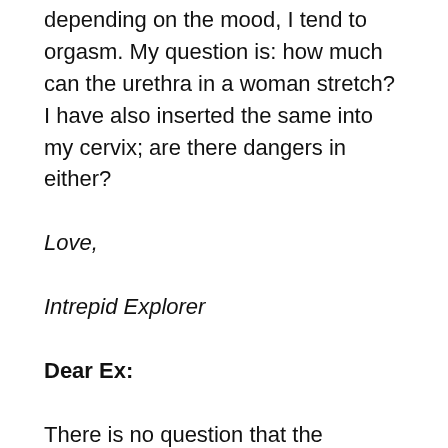depending on the mood, I tend to orgasm. My question is: how much can the urethra in a woman stretch? I have also inserted the same into my cervix; are there dangers in either?
Love,
Intrepid Explorer
Dear Ex:
There is no question that the urethra, or at least its surrounding tissue, is sexually sensitive. Ernest Gräfenburg's orginal break-out paper was called "The Role Of Urethra in Female Orgasm" and figured the locus of internal vaginal sensitivity (later called the G-spot) to be the area